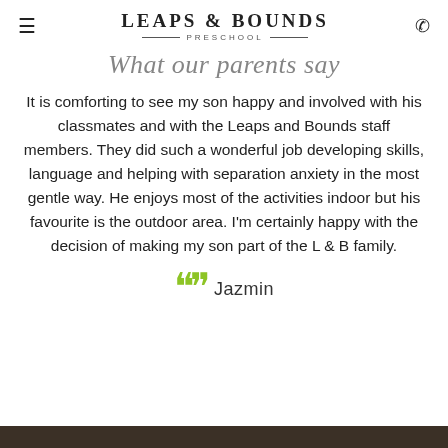LEAPS & BOUNDS PRESCHOOL
What our parents say
It is comforting to see my son happy and involved with his classmates and with the Leaps and Bounds staff members. They did such a wonderful job developing skills, language and helping with separation anxiety in the most gentle way. He enjoys most of the activities indoor but his favourite is the outdoor area. I'm certainly happy with the decision of making my son part of the L & B family.
Jazmin